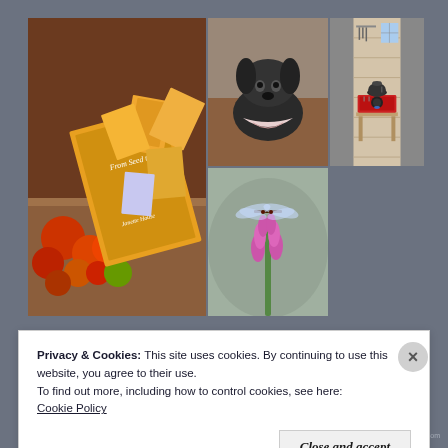[Figure (photo): Photo grid of lifestyle images including a book with seed packets and tomatoes, a dog, a dragonfly on a flower, a camping stove in a wooden cabin, an outdoor scene with a hedgehog, and a teapot on a wooden surface]
Privacy & Cookies: This site uses cookies. By continuing to use this website, you agree to their use.
To find out more, including how to control cookies, see here:
Cookie Policy
Close and accept